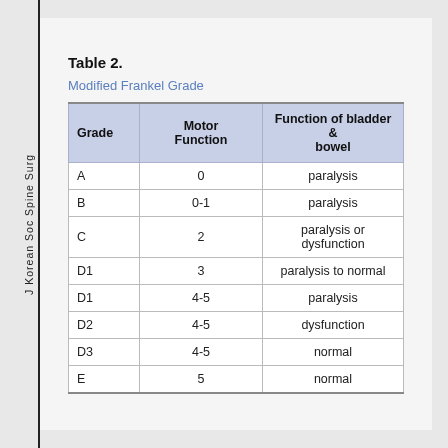J Korean Soc Spine Surg
Table 2.
Modified Frankel Grade
| Grade | Motor Function | Function of bladder & bowel |
| --- | --- | --- |
| A | 0 | paralysis |
| B | 0-1 | paralysis |
| C | 2 | paralysis or dysfunction |
| D1 | 3 | paralysis to normal |
| D1 | 4-5 | paralysis |
| D2 | 4-5 | dysfunction |
| D3 | 4-5 | normal |
| E | 5 | normal |